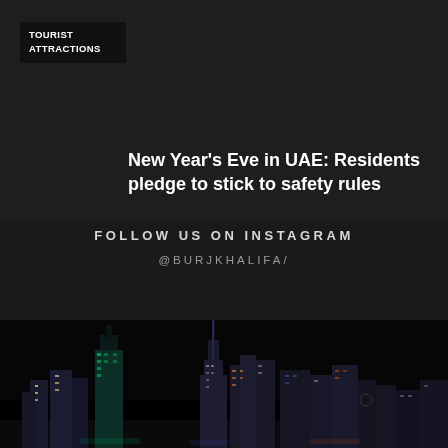TOURIST ATTRACTIONS
New Year's Eve in UAE: Residents pledge to stick to safety rules
CONSTRUCTION & TECHNOLOGY
< >
FOLLOW US ON INSTAGRAM
@BURJKHALIFA/
[Figure (photo): Night cityscape showing illuminated skyscrapers including what appears to be Burj Khalifa area in Dubai]